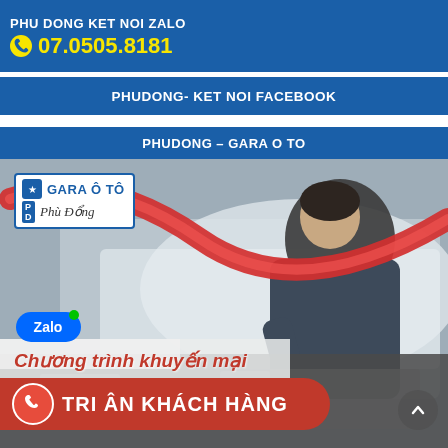PHU DONG KET NOI ZALO
07.0505.8181
PHUDONG- KET NOI FACEBOOK
PHUDONG – GARA O TO
[Figure (photo): Promotional banner for Gara Ô Tô Phù Đổng auto repair garage showing a mechanic working on a car engine, with Zalo logo, red swoosh design, and text 'Chương trình khuyến mại' and 'TRI ÂN KHÁCH HÀNG']